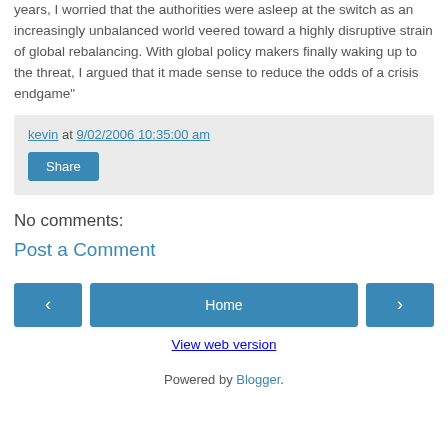years, I worried that the authorities were asleep at the switch as an increasingly unbalanced world veered toward a highly disruptive strain of global rebalancing. With global policy makers finally waking up to the threat, I argued that it made sense to reduce the odds of a crisis endgame"
kevin at 9/02/2006 10:35:00 am
Share
No comments:
Post a Comment
< Home > View web version
Powered by Blogger.